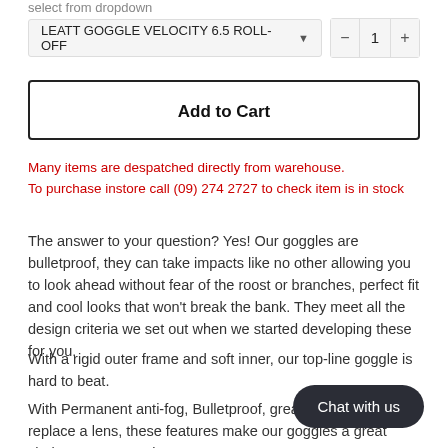select from dropdown
LEATT GOGGLE VELOCITY 6.5 ROLL-OFF  ▾   —  1  +
Add to Cart
Many items are despatched directly from warehouse.
To purchase instore call (09) 274 2727 to check item is in stock
The answer to your question? Yes! Our goggles are bulletproof, they can take impacts like no other allowing you to look ahead without fear of the roost or branches, perfect fit and cool looks that won't break the bank. They meet all the design criteria we set out when we started developing these for you.
With a rigid outer frame and soft inner, our top-line goggle is hard to beat.
With Permanent anti-fog, Bulletproof, great… an 20 seconds to replace a lens, these features make our goggles a great choice at a great price.